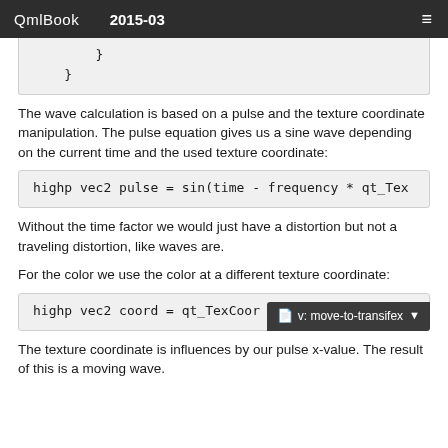QmlBook  2015-03
}
}
The wave calculation is based on a pulse and the texture coordinate manipulation. The pulse equation gives us a sine wave depending on the current time and the used texture coordinate:
highp vec2 pulse = sin(time - frequency * qt_Tex…
Without the time factor we would just have a distortion but not a traveling distortion, like waves are.
For the color we use the color at a different texture coordinate:
highp vec2 coord = qt_TexCoor…
The texture coordinate is influences by our pulse x-value. The result of this is a moving wave.